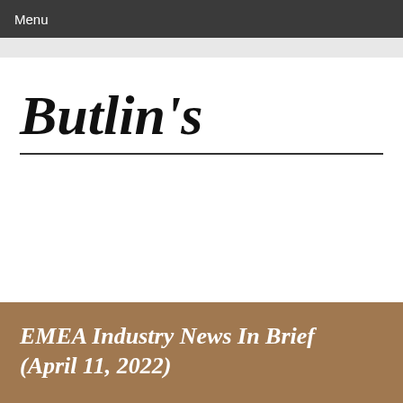Menu
Butlin's
EMEA Industry News In Brief (April 11, 2022)